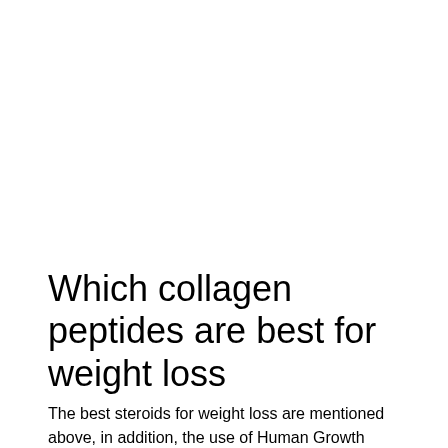Which collagen peptides are best for weight loss
The best steroids for weight loss are mentioned above, in addition, the use of Human Growth Hormone is also considered beneficial in weight loss which can also redefine your physical abilitiesand also the body's metabolic rate, and can increase the size of your skin and muscles.